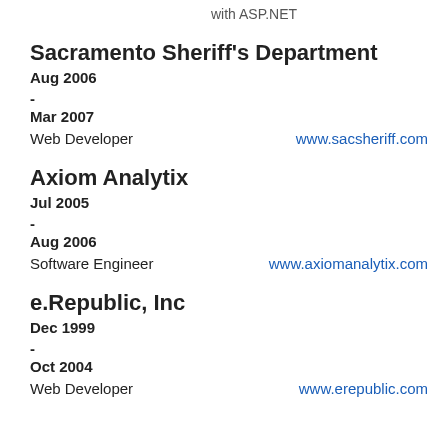with ASP.NET
Sacramento Sheriff's Department
Aug 2006
-
Mar 2007
Web Developer    www.sacsheriff.com
Axiom Analytix
Jul 2005
-
Aug 2006
Software Engineer    www.axiomanalytix.com
e.Republic, Inc
Dec 1999
-
Oct 2004
Web Developer    www.erepublic.com